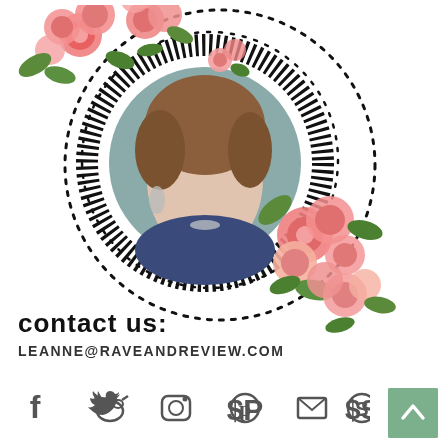[Figure (photo): Circular profile photo of a woman with brown hair, wearing a floral top and necklace, framed by decorative black dotted and striped circles with pink rose floral decorations at top left and bottom right]
contact us:
LEANNE@RAVEANDREVIEW.COM
[Figure (illustration): Social media icons row: Facebook (f), Twitter (bird), Instagram (camera), Pinterest (P), Email (envelope), Skype (S)]
[Figure (illustration): Green back-to-top button with upward chevron arrow in bottom right corner]